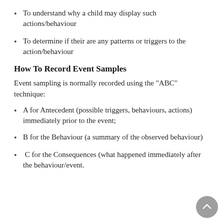To understand why a child may display such actions/behaviour
To determine if their are any patterns or triggers to the action/behaviour
How To Record Event Samples
Event sampling is normally recorded using the "ABC" technique:
A for Antecedent (possible triggers, behaviours, actions) immediately prior to the event;
B for the Behaviour (a summary of the observed behaviour)
C for the Consequences (what happened immediately after the behaviour/event.